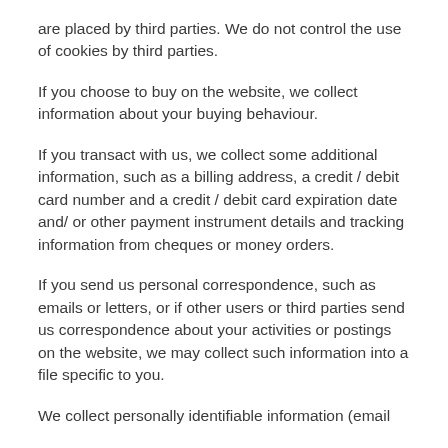are placed by third parties. We do not control the use of cookies by third parties.
If you choose to buy on the website, we collect information about your buying behaviour.
If you transact with us, we collect some additional information, such as a billing address, a credit / debit card number and a credit / debit card expiration date and/ or other payment instrument details and tracking information from cheques or money orders.
If you send us personal correspondence, such as emails or letters, or if other users or third parties send us correspondence about your activities or postings on the website, we may collect such information into a file specific to you.
We collect personally identifiable information (email